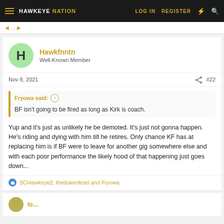HAWKEYE NATION — LOG IN  REGISTER
Hawkfnntn
Well-Known Member
Nov 8, 2021  #22
Fryowa said:
BF isn't going to be fired as long as Kirk is coach.
Yup and it's just as unlikely he be demoted. It's just not gonna happen. He's riding and dying with him till he retires. Only chance KF has at replacing him is if BF were to leave for another gig somewhere else and with each poor performance the likely hood of that happening just goes down...
SCHawkeye2, thedukeofearl and Fryowa